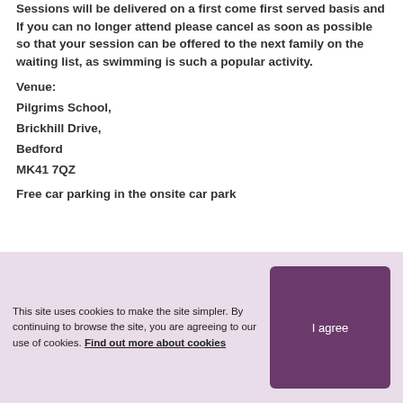Sessions will be delivered on a first come first served basis and If you can no longer attend please cancel as soon as possible so that your session can be offered to the next family on the waiting list, as swimming is such a popular activity.
Venue:
Pilgrims School,
Brickhill Drive,
Bedford
MK41 7QZ
Free car parking in the onsite car park
This site uses cookies to make the site simpler. By continuing to browse the site, you are agreeing to our use of cookies. Find out more about cookies